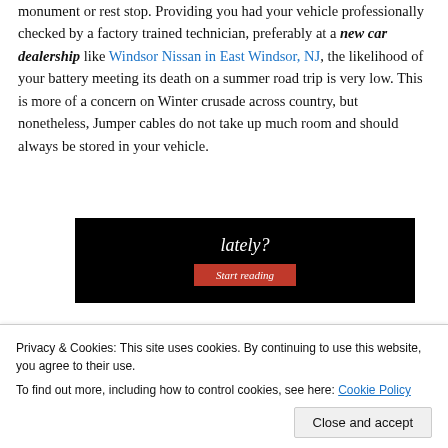monument or rest stop. Providing you had your vehicle professionally checked by a factory trained technician, preferably at a new car dealership like Windsor Nissan in East Windsor, NJ, the likelihood of your battery meeting its death on a summer road trip is very low. This is more of a concern on Winter crusade across country, but nonetheless, Jumper cables do not take up much room and should always be stored in your vehicle.
[Figure (screenshot): Dark banner image with italic white text reading 'lately?' and a red 'Start reading' button below.]
Privacy & Cookies: This site uses cookies. By continuing to use this website, you agree to their use. To find out more, including how to control cookies, see here: Cookie Policy
Close and accept